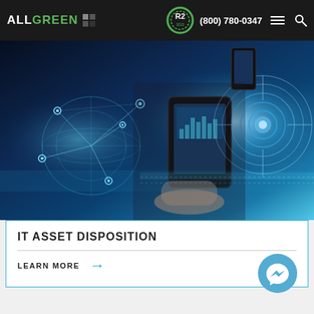ALL GREEN | R2 | (800) 780-0347
[Figure (photo): Futuristic technology hero image showing a person holding a tablet with holographic globe, network nodes, digital charts, and glowing circular target graphic on blue/cyan background]
IT ASSET DISPOSITION
LEARN MORE →